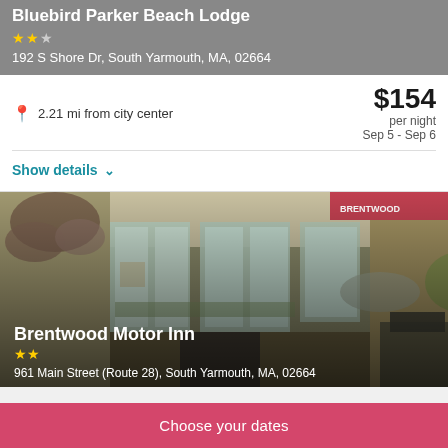Bluebird Parker Beach Lodge
192 S Shore Dr, South Yarmouth, MA, 02664
2.21 mi from city center
$154 per night Sep 5 - Sep 6
Show details
[Figure (photo): Interior lobby photo of Brentwood Motor Inn showing reception area, chairs, windows with outdoor view of parking lot]
Brentwood Motor Inn
961 Main Street (Route 28), South Yarmouth, MA, 02664
Choose your dates